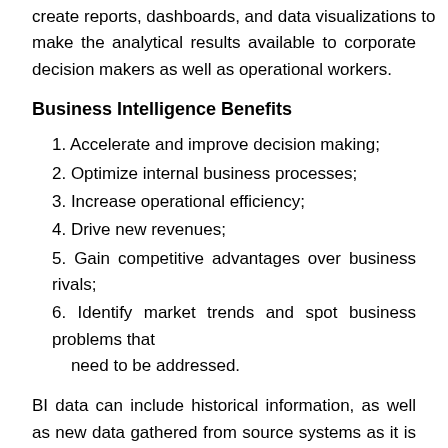create reports, dashboards, and data visualizations to make the analytical results available to corporate decision makers as well as operational workers.
Business Intelligence Benefits
1. Accelerate and improve decision making;
2. Optimize internal business processes;
3. Increase operational efficiency;
4. Drive new revenues;
5. Gain competitive advantages over business rivals;
6. Identify market trends and spot business problems that need to be addressed.
BI data can include historical information, as well as new data gathered from source systems as it is generated, enabling BI analysis to support both strategic and tactical decision-making processes. Initially, BI tools were primarily